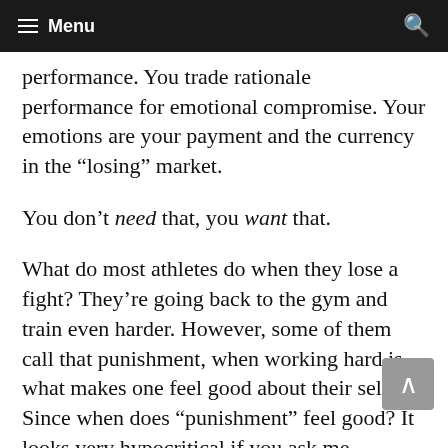≡ Menu
performance. You trade rationale performance for emotional compromise. Your emotions are your payment and the currency in the “losing” market.
You don’t need that, you want that.
What do most athletes do when they lose a fight? They’re going back to the gym and train even harder. However, some of them call that punishment, when working hard is what makes one feel good about their self. Since when does “punishment” feel good? It looks very hypocritical if you ask me.
Another example: How many people know what